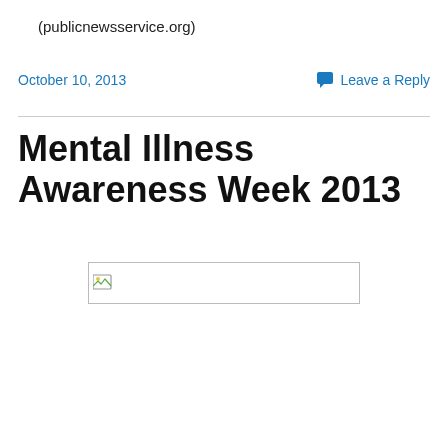(publicnewsservice.org)
October 10, 2013
Leave a Reply
Mental Illness Awareness Week 2013
[Figure (photo): Broken/unloaded image placeholder]